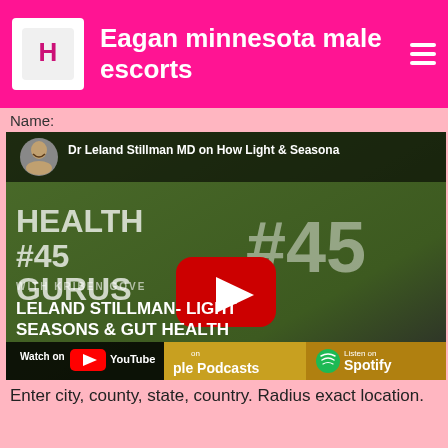Eagan minnesota male escorts
Name:
[Figure (screenshot): YouTube video thumbnail for Health Gurus podcast episode #45 featuring Dr Leland Stillman MD on How Light & Seasons affect gut health, with Watch on YouTube, Apple Podcasts, and Spotify buttons at the bottom]
Enter city, county, state, country. Radius exact location.